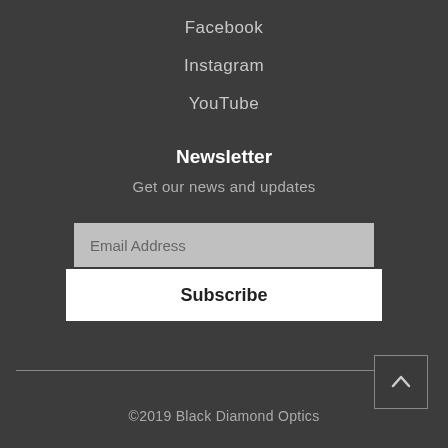Facebook
Instagram
YouTube
Newsletter
Get our news and updates
Email Address
Subscribe
©2019 Black Diamond Optics